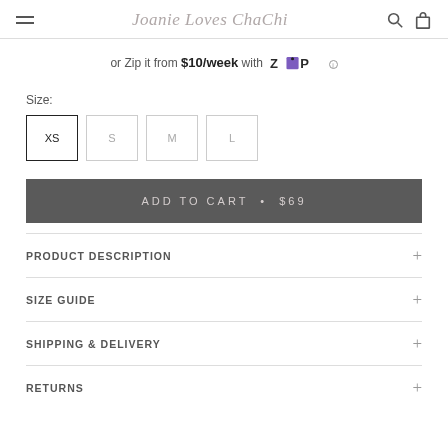Joanie Loves ChaChi
or Zip it from $10/week with Zip
Size:
XS  S  M  L
ADD TO CART • $69
PRODUCT DESCRIPTION
SIZE GUIDE
SHIPPING & DELIVERY
RETURNS